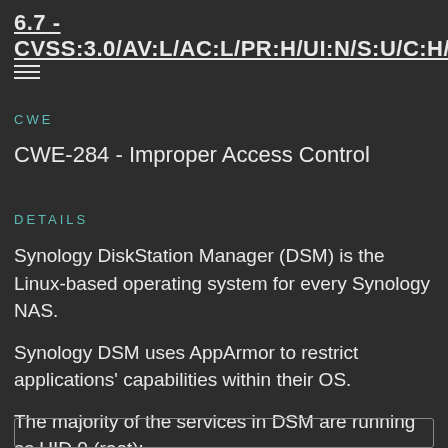6.7 - CVSS:3.0/AV:L/AC:L/PR:H/UI:N/S:U/C:H/I:H/A:H
CWE
CWE-284 - Improper Access Control
Details
Synology DiskStation Manager (DSM) is the Linux-based operating system for every Synology NAS.
Synology DSM uses AppArmor to restrict applications' capabilities within their OS.
The majority of the services in DSM are running as UID 0 (root):